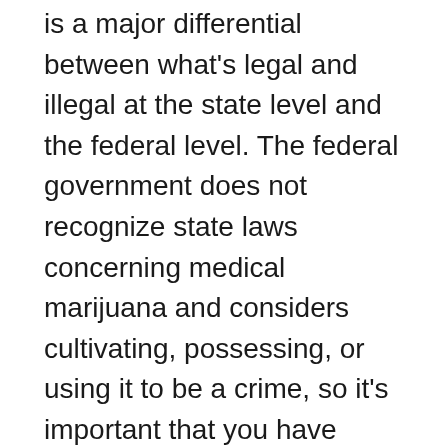is a major differential between what's legal and illegal at the state level and the federal level. The federal government does not recognize state laws concerning medical marijuana and considers cultivating, possessing, or using it to be a crime, so it's important that you have access to an experienced marijuana lawyer if you run into legal troubles.
In 2003, SB 420, the Medical Marijuana Protection Act, established an ID card system for medical marijuana patients. However, according to a recent California